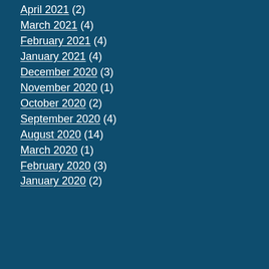April 2021 (2)
March 2021 (4)
February 2021 (4)
January 2021 (4)
December 2020 (3)
November 2020 (1)
October 2020 (2)
September 2020 (4)
August 2020 (14)
March 2020 (1)
February 2020 (3)
January 2020 (2)